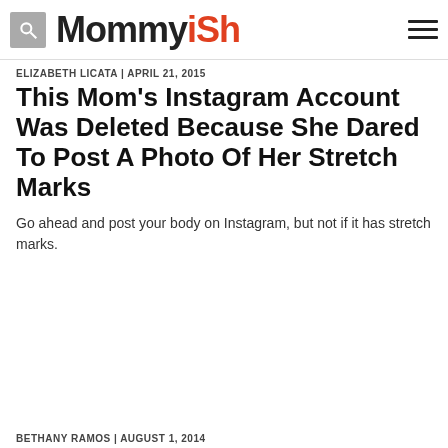Mommyish
ELIZABETH LICATA | April 21, 2015
This Mom's Instagram Account Was Deleted Because She Dared To Post A Photo Of Her Stretch Marks
Go ahead and post your body on Instagram, but not if it has stretch marks.
BETHANY RAMOS | August 1, 2014